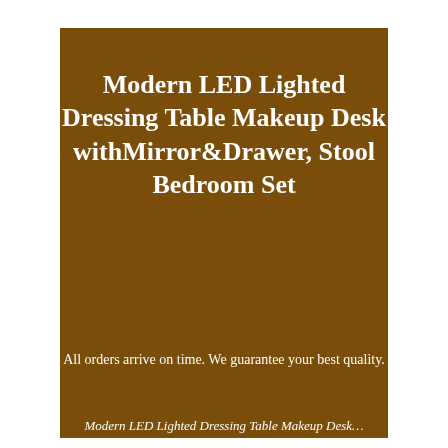Modern LED Lighted Dressing Table Makeup Desk withMirror&Drawer, Stool Bedroom Set
All orders arrive on time. We guarantee your best quality.
Modern LED Lighted Dressing Table Makeup Desk…